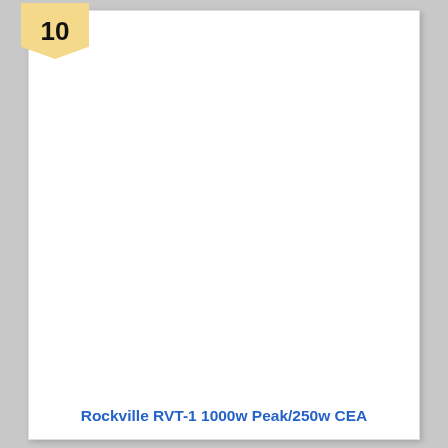10
Rockville RVT-1 1000w Peak/250w CEA